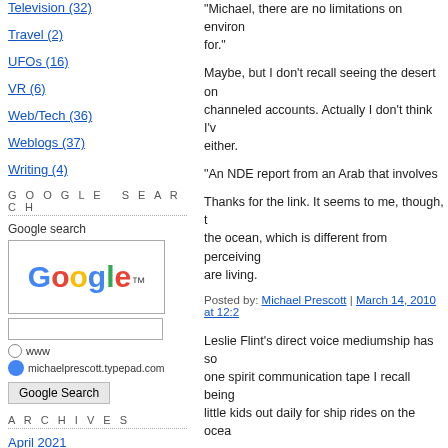Television (32)
Travel (2)
UFOs (16)
VR (6)
Web/Tech (36)
Weblogs (37)
Writing (4)
GOOGLE SEARCH
Google search
[Figure (logo): Google logo in search box]
ARCHIVES
April 2021
"Michael, there are no limitations on environ... for."
Maybe, but I don't recall seeing the desert or channeled accounts. Actually I don't think I'v... either.
"An NDE report from an Arab that involves...
Thanks for the link. It seems to me, though, t the ocean, which is different from perceiving... are living.
Posted by: Michael Prescott | March 14, 2010 at 12:2...
Leslie Flint's direct voice mediumship has so one spirit communication tape I recall being little kids out daily for ship rides on the ocea...
But, of course, I'm not entirely convinced of and against the authenticity.
Posted by: Eteponge | March 14, 2010 at 12:46 AM